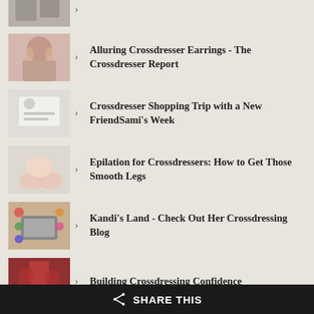[Figure (photo): Partial thumbnail image at top, partially cut off]
Alluring Crossdresser Earrings - The Crossdresser Report
Crossdresser Shopping Trip with a New FriendSami's Week
Epilation for Crossdressers: How to Get Those Smooth Legs
Kandi's Land - Check Out Her Crossdressing Blog
Building Crossdressing Confidence
New Crossdressing Blog: The Crossdresser Report
SHARE THIS